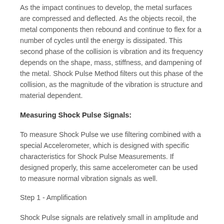As the impact continues to develop, the metal surfaces are compressed and deflected. As the objects recoil, the metal components then rebound and continue to flex for a number of cycles until the energy is dissipated. This second phase of the collision is vibration and its frequency depends on the shape, mass, stiffness, and dampening of the metal. Shock Pulse Method filters out this phase of the collision, as the magnitude of the vibration is structure and material dependent.
Measuring Shock Pulse Signals:
To measure Shock Pulse we use filtering combined with a special Accelerometer, which is designed with specific characteristics for Shock Pulse Measurements. If designed properly, this same accelerometer can be used to measure normal vibration signals as well.
Step 1 - Amplification
Shock Pulse signals are relatively small in amplitude and do not travel great distances. To amplify the small Shock Pulse signal the piezo electric crystal stacks, which are the actual element in an accelerometer that generates signals, are